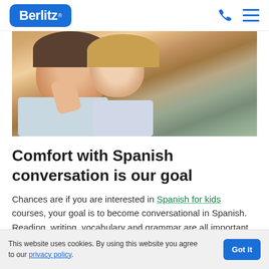Berlitz
[Figure (photo): Two children in thoughtful pose, one resting hand on chin, appearing to be in a classroom or learning setting]
Comfort with Spanish conversation is our goal
Chances are if you are interested in Spanish for kids courses, your goal is to become conversational in Spanish. Reading, writing, vocabulary and grammar are all important
This website uses cookies. By using this website you agree to our privacy policy.